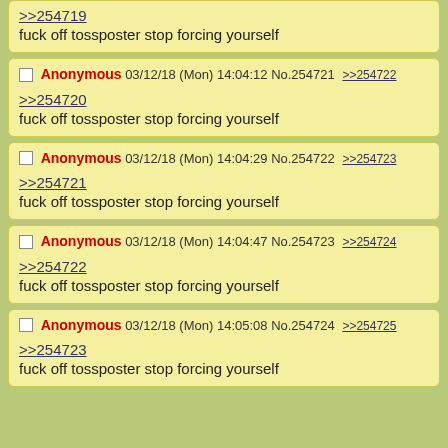>>254719
fuck off tossposter stop forcing yourself
Anonymous 03/12/18 (Mon) 14:04:12 No.254721 >>254722
>>254720
fuck off tossposter stop forcing yourself
Anonymous 03/12/18 (Mon) 14:04:29 No.254722 >>254723
>>254721
fuck off tossposter stop forcing yourself
Anonymous 03/12/18 (Mon) 14:04:47 No.254723 >>254724
>>254722
fuck off tossposter stop forcing yourself
Anonymous 03/12/18 (Mon) 14:05:08 No.254724 >>254725
>>254723
fuck off tossposter stop forcing yourself